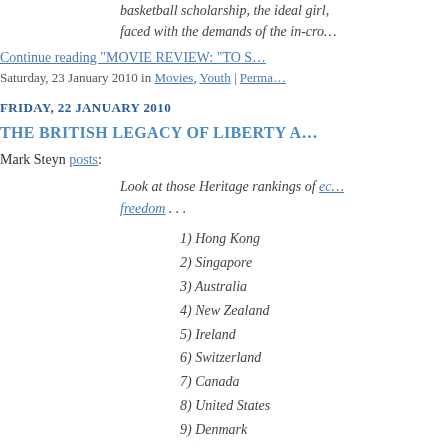basketball scholarship, the ideal girl, faced with the demands of the in-cro…
Continue reading "MOVIE REVIEW: "TO S…
Saturday, 23 January 2010 in Movies, Youth | Perma…
FRIDAY, 22 JANUARY 2010
THE BRITISH LEGACY OF LIBERTY A…
Mark Steyn posts:
Look at those Heritage rankings of ec… freedom . . .
1) Hong Kong
2) Singapore
3) Australia
4) New Zealand
5) Ireland
6) Switzerland
7) Canada
8) United States
9) Denmark
10) Chile